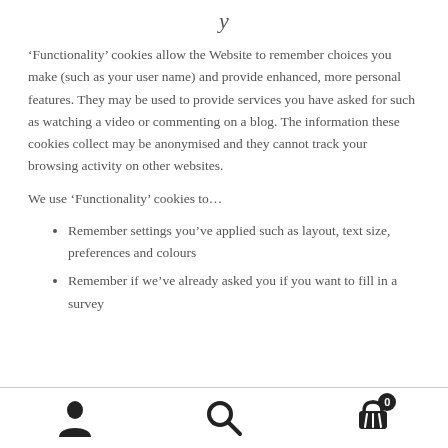y
‘Functionality’ cookies allow the Website to remember choices you make (such as your user name) and provide enhanced, more personal features. They may be used to provide services you have asked for such as watching a video or commenting on a blog. The information these cookies collect may be anonymised and they cannot track your browsing activity on other websites.
We use ‘Functionality’ cookies to…
Remember settings you’ve applied such as layout, text size, preferences and colours
Remember if we’ve already asked you if you want to fill in a survey
[Figure (infographic): Mobile app bottom navigation bar with three icons: person/user icon on the left, search magnifying glass icon in the center, and a shopping cart icon with a badge showing '0' on the right.]